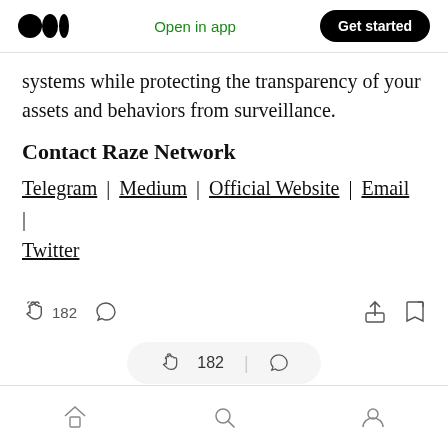Medium logo | Open in app | Get started
systems while protecting the transparency of your assets and behaviors from surveillance.
Contact Raze Network
Telegram | Medium | Official Website | Email | Twitter
[Figure (screenshot): Action bar with clap icon showing 182 claps, comment icon, share icon, and bookmark icon]
[Figure (screenshot): Floating action bar with clap icon showing 182, separator, and comment icon]
Bottom navigation bar with home, search, and profile icons